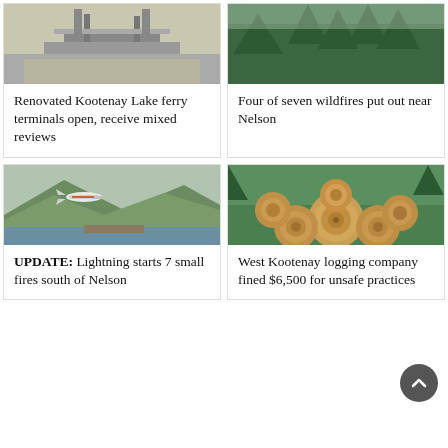[Figure (photo): Photo of Kootenay Lake ferry terminal structure]
Renovated Kootenay Lake ferry terminals open, receive mixed reviews
[Figure (photo): Photo of forest/trees near Nelson wildfires area]
Four of seven wildfires put out near Nelson
[Figure (photo): Photo of a small plane flying over a lake with mountains in background]
UPDATE: Lightning starts 7 small fires south of Nelson
[Figure (photo): Photo of stacked logs (cross-section view) with trees in background]
West Kootenay logging company fined $6,500 for unsafe practices